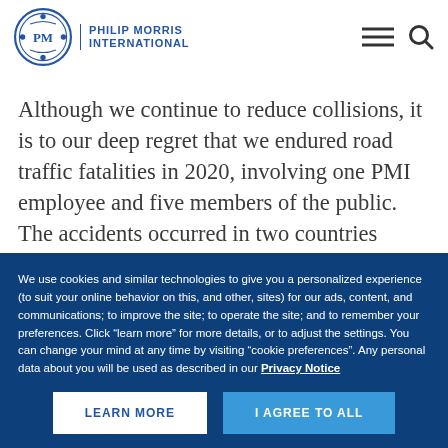PHILIP MORRIS INTERNATIONAL
Although we continue to reduce collisions, it is to our deep regret that we endured road traffic fatalities in 2020, involving one PMI employee and five members of the public. The accidents occurred in two countries
We use cookies and similar technologies to give you a personalized experience (to suit your online behavior on this, and other, sites) for our ads, content, and communications; to improve the site; to operate the site; and to remember your preferences. Click “learn more” for more details, or to adjust the settings. You can change your mind at any time by visiting “cookie preferences”. Any personal data about you will be used as described in our Privacy Notice
LEARN MORE
I AGREE TO ALL